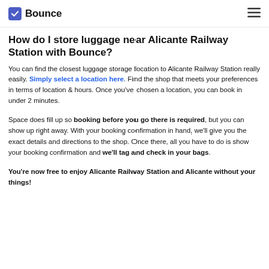Bounce [logo]
How do I store luggage near Alicante Railway Station with Bounce?
You can find the closest luggage storage location to Alicante Railway Station really easily. Simply select a location here. Find the shop that meets your preferences in terms of location & hours. Once you've chosen a location, you can book in under 2 minutes.
Space does fill up so booking before you go there is required, but you can show up right away. With your booking confirmation in hand, we'll give you the exact details and directions to the shop. Once there, all you have to do is show your booking confirmation and we'll tag and check in your bags.
You're now free to enjoy Alicante Railway Station and Alicante without your things!